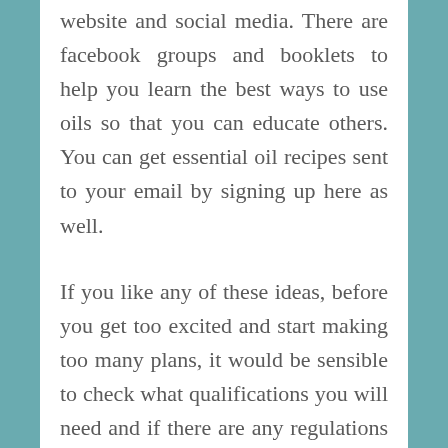website and social media. There are facebook groups and booklets to help you learn the best ways to use oils so that you can educate others. You can get essential oil recipes sent to your email by signing up here as well.
If you like any of these ideas, before you get too excited and start making too many plans, it would be sensible to check what qualifications you will need and if there are any regulations you must meet in order for your